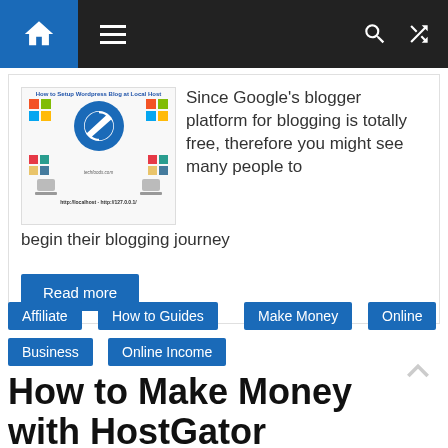Navigation bar with home icon, hamburger menu, search and shuffle icons
[Figure (screenshot): WordPress blog setup at localhost tutorial image with Windows logos, WordPress circular logo, colorful icons, Mac icons, and URL text http://localhost - http://127.0.0.1/]
Since Google's blogger platform for blogging is totally free, therefore you might see many people to begin their blogging journey
Read more
Affiliate
How to Guides
Make Money
Online
Business
Online Income
How to Make Money with HostGator Affiliate